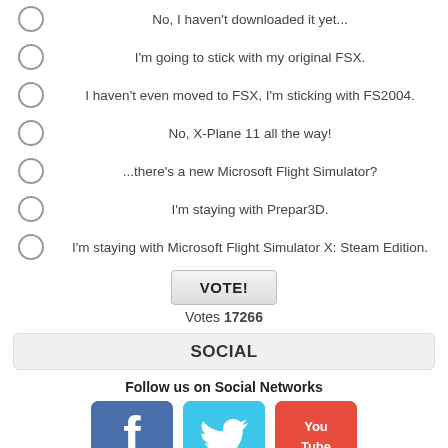No, I haven't downloaded it yet...
I'm going to stick with my original FSX.
I haven't even moved to FSX, I'm sticking with FS2004.
No, X-Plane 11 all the way!
...there's a new Microsoft Flight Simulator?
I'm staying with Prepar3D.
I'm staying with Microsoft Flight Simulator X: Steam Edition.
Votes 17266
SOCIAL
Follow us on Social Networks
[Figure (illustration): Three social media icons: Facebook (blue), Twitter (light blue), YouTube (red)]